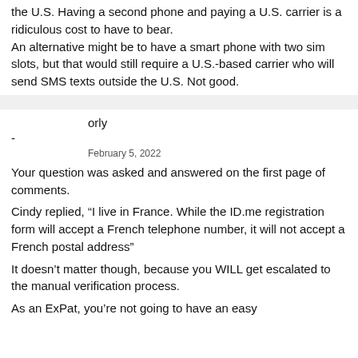the U.S. Having a second phone and paying a U.S. carrier is a ridiculous cost to have to bear. An alternative might be to have a smart phone with two sim slots, but that would still require a U.S.-based carrier who will send SMS texts outside the U.S. Not good.
orly
-
February 5, 2022
Your question was asked and answered on the first page of comments.
Cindy replied, “I live in France. While the ID.me registration form will accept a French telephone number, it will not accept a French postal address”
It doesn’t matter though, because you WILL get escalated to the manual verification process.
As an ExPat, you’re not going to have an easy